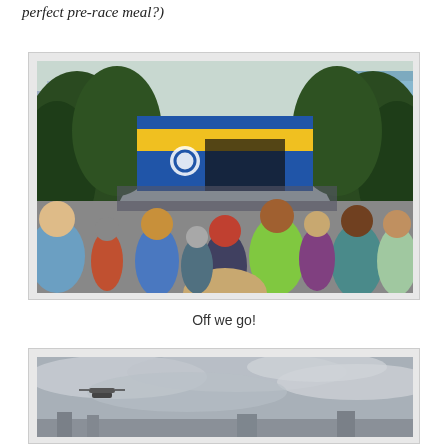perfect pre-race meal?)
[Figure (photo): Crowd of runners at a race start line with a large blue and yellow banner/arch overhead, surrounded by trees and city buildings in the background.]
Off we go!
[Figure (photo): Overcast grey sky with a helicopter visible, partial view of a city scene below.]